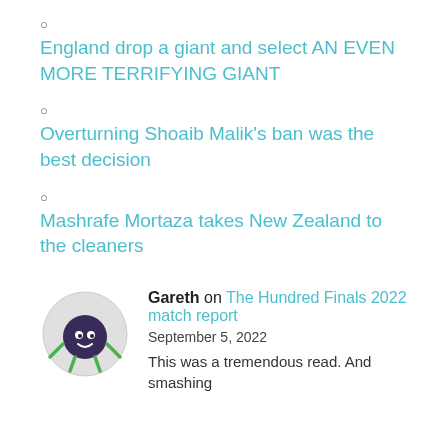○
England drop a giant and select AN EVEN MORE TERRIFYING GIANT
○
Overturning Shoaib Malik's ban was the best decision
○
Mashrafe Mortaza takes New Zealand to the cleaners
Gareth on The Hundred Finals 2022 match report
September 5, 2022
This was a tremendous read. And smashing